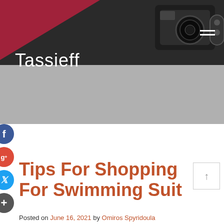[Figure (screenshot): Website header with grey background, dark photo strip showing a vintage camera in black and white, a red geometric shape in upper left, hamburger menu icon in upper right, and site title 'Tassieff' in white text]
Tips For Shopping For Swimming Suit
Posted on June 16, 2021 by Omiros Spyridoula